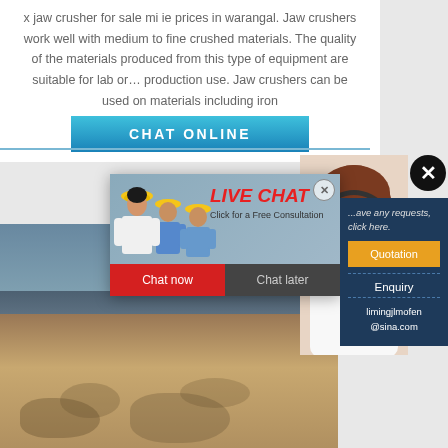x jaw crusher for sale mi ie prices in warangal. Jaw crushers work well with medium to fine crushed materials. The quality of the materials produced from this type of equipment are suitable for lab or… production use. Jaw crushers can be used on materials including iron
[Figure (screenshot): CHAT ONLINE button - blue gradient button with white bold text]
[Figure (screenshot): Live chat popup overlay showing workers in yellow hard hats, LIVE CHAT heading in red italic, Click for a Free Consultation subtext, Chat now (red) and Chat later (dark) buttons]
[Figure (photo): Construction/mining photo showing crushed rock materials and machinery]
[Figure (photo): Customer service representative with headset on right side]
[Figure (screenshot): Right sidebar panel with dark blue background showing: have any requests click here text, Quotation button (orange), Enquiry link, limingjlmofen@sina.com email, X close button]